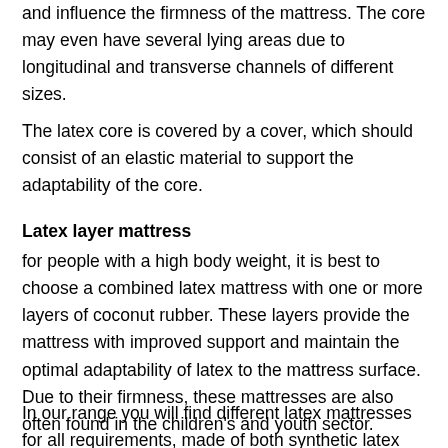and influence the firmness of the mattress. The core may even have several lying areas due to longitudinal and transverse channels of different sizes.
The latex core is covered by a cover, which should consist of an elastic material to support the adaptability of the core.
Latex layer mattress
for people with a high body weight, it is best to choose a combined latex mattress with one or more layers of coconut rubber. These layers provide the mattress with improved support and maintain the optimal adaptability of latex to the mattress surface.
Due to their firmness, these mattresses are also often found in the children's and youth sector.
In our range you will find different latex mattresses for all requirements, made of both synthetic latex and natural